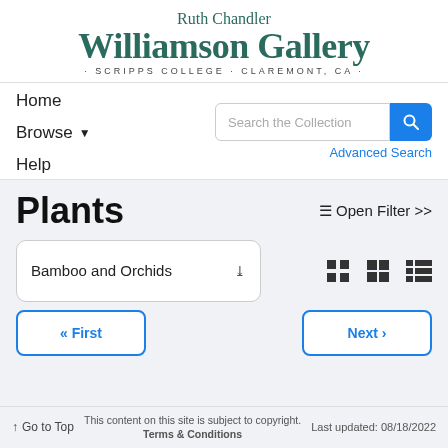Ruth Chandler Williamson Gallery · SCRIPPS COLLEGE · CLAREMONT, CA ·
Home
Browse ▾
Help
[Figure (screenshot): Search bar with placeholder 'Search the Collection' and blue search button, with Advanced Search link below]
Plants
☰ Open Filter >>
Bamboo and Orchids
↑ Go to Top   This content on this site is subject to copyright. Terms & Conditions   Last updated: 08/18/2022